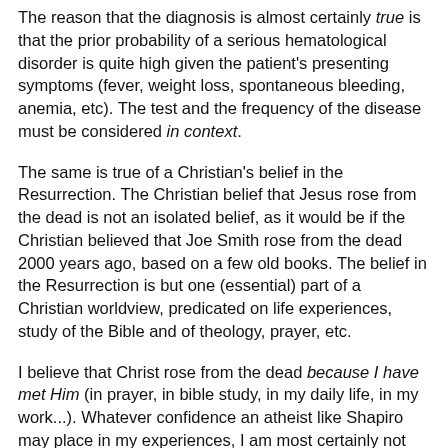The reason that the diagnosis is almost certainly true is that the prior probability of a serious hematological disorder is quite high given the patient's presenting symptoms (fever, weight loss, spontaneous bleeding, anemia, etc). The test and the frequency of the disease must be considered in context.
The same is true of a Christian's belief in the Resurrection. The Christian belief that Jesus rose from the dead is not an isolated belief, as it would be if the Christian believed that Joe Smith rose from the dead 2000 years ago, based on a few old books. The belief in the Resurrection is but one (essential) part of a Christian worldview, predicated on life experiences, study of the Bible and of theology, prayer, etc.
I believe that Christ rose from the dead because I have met Him (in prayer, in bible study, in my daily life, in my work...). Whatever confidence an atheist like Shapiro may place in my experiences, I am most certainly not accepting Christ's Resurrection as screening test: "gee- I wonder how likely the Resurrection of one guy in 100 billion is, based on a few 2000 year-old books?"